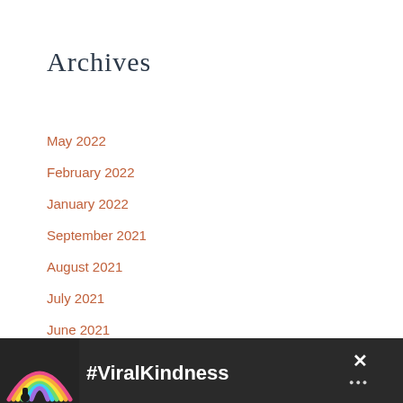Archives
May 2022
February 2022
January 2022
September 2021
August 2021
July 2021
June 2021
May 2021
April 2021
[Figure (infographic): Advertisement banner with a rainbow illustration and text '#ViralKindness' on a dark background, with close buttons]